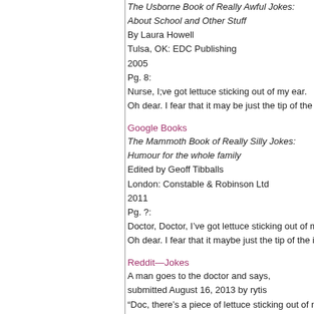The Usborne Book of Really Awful Jokes:
About School and Other Stuff
By Laura Howell
Tulsa, OK: EDC Publishing
2005
Pg. 8:
Nurse, I;ve got lettuce sticking out of my ear.
Oh dear. I fear that it may be just the tip of the iceb
Google Books
The Mammoth Book of Really Silly Jokes:
Humour for the whole family
Edited by Geoff Tibballs
London: Constable & Robinson Ltd
2011
Pg. ?:
Doctor, Doctor, I've got lettuce sticking out of my e
Oh dear. I fear that it maybe just the tip of the iceb
Reddit—Jokes
A man goes to the doctor and says,
submitted August 16, 2013 by rytis
“Doc, there’s a piece of lettuce sticking out of my a
The doctor instructs him to drop his trousers, and t
The man asks, “Is it serious, doc?”